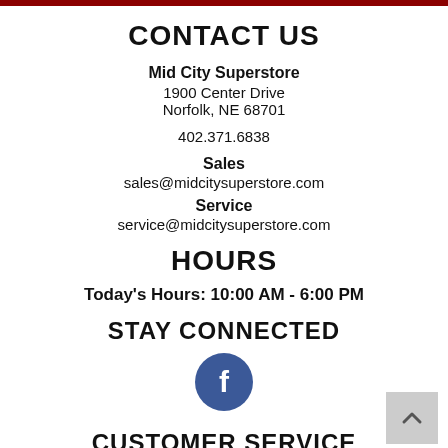CONTACT US
Mid City Superstore
1900 Center Drive
Norfolk, NE 68701
402.371.6838
Sales
sales@midcitysuperstore.com
Service
service@midcitysuperstore.com
HOURS
Today's Hours: 10:00 AM - 6:00 PM
STAY CONNECTED
[Figure (logo): Facebook icon — blue circle with white lowercase f]
CUSTOMER SERVICE